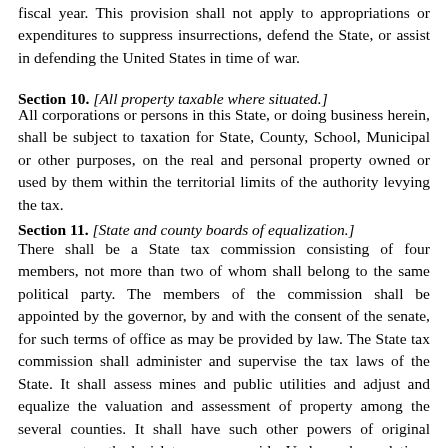fiscal year. This provision shall not apply to appropriations or expenditures to suppress insurrections, defend the State, or assist in defending the United States in time of war.
Section 10. [All property taxable where situated.]
All corporations or persons in this State, or doing business herein, shall be subject to taxation for State, County, School, Municipal or other purposes, on the real and personal property owned or used by them within the territorial limits of the authority levying the tax.
Section 11. [State and county boards of equalization.]
There shall be a State tax commission consisting of four members, not more than two of whom shall belong to the same political party. The members of the commission shall be appointed by the governor, by and with the consent of the senate, for such terms of office as may be provided by law. The State tax commission shall administer and supervise the tax laws of the State. It shall assess mines and public utilities and adjust and equalize the valuation and assessment of property among the several counties. It shall have such other powers of original assessment as the legislature may provide. Under such regulations in such cases and within such limitations as the legislature may prescribe, it shall establish systems of public accounting, review proposed bond issues, revise the valuations and the budgets of the counties, and do such other